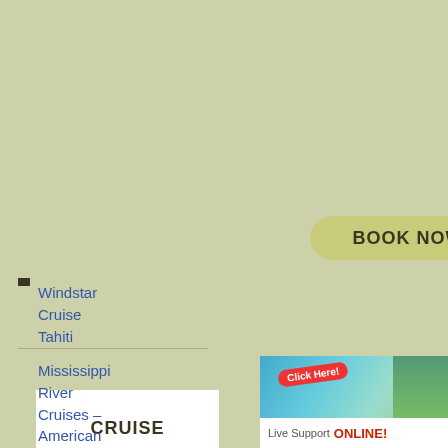[Figure (other): BOOK NOW button with rounded pill shape on olive-green background]
CRUISE
Windstar Cruise Tahiti
Mississippi River Cruises – American Queen
[Figure (other): Live Support ONLINE banner with beach/palm tree image and Click Here label]